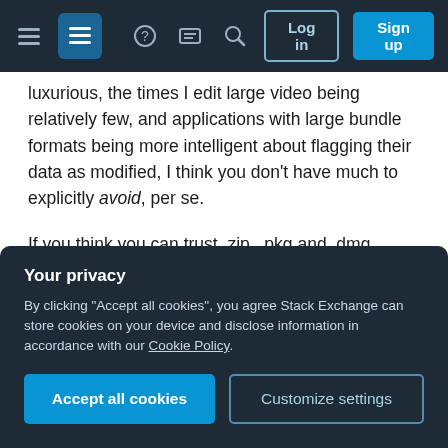Stack Exchange navigation bar with hamburger menu, logo, help icon, chat icon, search icon, Log in and Sign up buttons
luxurious, the times I edit large video being relatively few, and applications with large bundle formats being more intelligent about flagging their data as modified, I think you don't have much to explicitly avoid, per se.
If you think you can trust .zip, .pkg and .dmg extensions to be re-downloadable, you may want to exclude those file types from the Downloads folder, I find myself editing things I've downloaded and being lazy about moving them to a better location, so I
Your privacy
By clicking "Accept all cookies", you agree Stack Exchange can store cookies on your device and disclose information in accordance with our Cookie Policy.
quite large and are only a convenience to cache